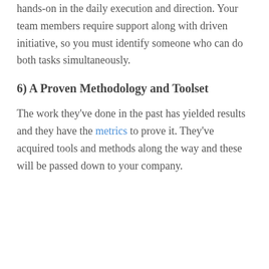hands-on in the daily execution and direction. Your team members require support along with driven initiative, so you must identify someone who can do both tasks simultaneously.
6) A Proven Methodology and Toolset
The work they've done in the past has yielded results and they have the metrics to prove it. They've acquired tools and methods along the way and these will be passed down to your company.